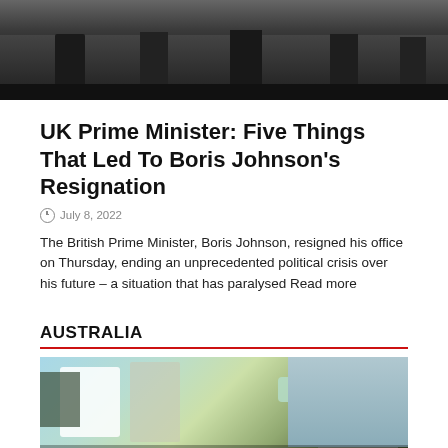[Figure (photo): Photograph of people walking, showing legs and feet on a dark surface]
UK Prime Minister: Five Things That Led To Boris Johnson’s Resignation
July 8, 2022
The British Prime Minister, Boris Johnson, resigned his office on Thursday, ending an unprecedented political crisis over his future – a situation that has paralysed Read more
AUSTRALIA
[Figure (photo): Outdoor street scene in Australia with vehicles, trees, and a road sign]